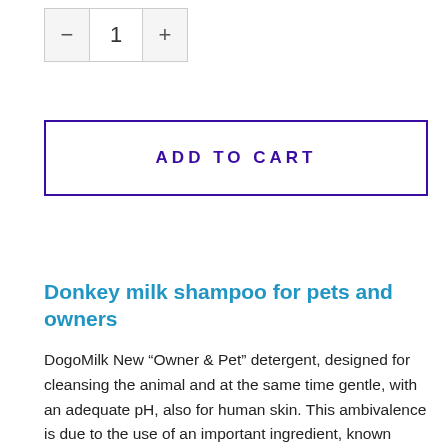[Figure (other): Quantity selector with minus button, number 1, and plus button]
ADD TO CART
Donkey milk shampoo for pets and owners
DogoMilk New “Owner & Pet” detergent, designed for cleansing the animal and at the same time gentle, with an adequate pH, also for human skin. This ambivalence is due to the use of an important ingredient, known since ancient times, as an excellent emollient, nourishing and illuminating remedy: donkey milk. Thanks to its particular composition, it is ideal for the natural care of the skin, both human and animal. It contains in fact: vitamins